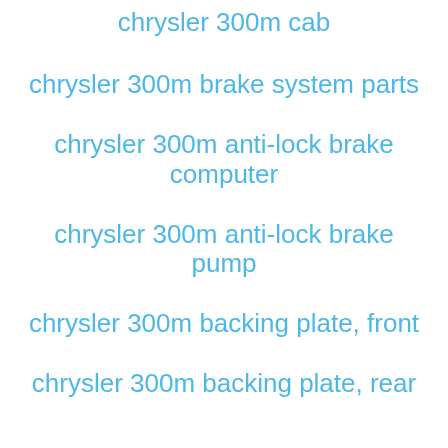chrysler 300m cab
chrysler 300m brake system parts
chrysler 300m anti-lock brake computer
chrysler 300m anti-lock brake pump
chrysler 300m backing plate, front
chrysler 300m backing plate, rear